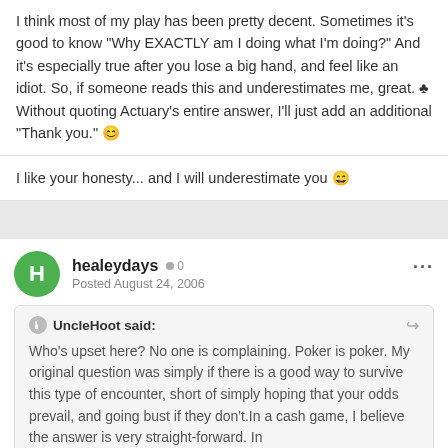I think most of my play has been pretty decent. Sometimes it's good to know "Why EXACTLY am I doing what I'm doing?" And it's especially true after you lose a big hand, and feel like an idiot. So, if someone reads this and underestimates me, great. ♣ Without quoting Actuary's entire answer, I'll just add an additional "Thank you." 😊
I like your honesty... and I will underestimate you 😊
healeydays
Posted August 24, 2006
UncleHoot said:
Who's upset here? No one is complaining. Poker is poker. My original question was simply if there is a good way to survive this type of encounter, short of simply hoping that your odds prevail, and going bust if they don't.In a cash game, I believe the answer is very straight-forward. In